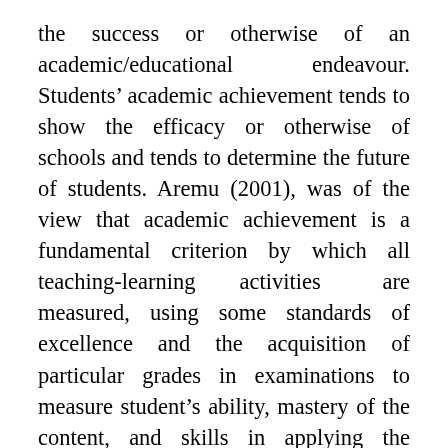the success or otherwise of an academic/educational endeavour. Students' academic achievement tends to show the efficacy or otherwise of schools and tends to determine the future of students. Aremu (2001), was of the view that academic achievement is a fundamental criterion by which all teaching-learning activities are measured, using some standards of excellence and the acquisition of particular grades in examinations to measure student's ability, mastery of the content, and skills in applying the knowledge acquired to a particular situation. According to Ernest-Ehibudu & Opurum (2013), the measure for